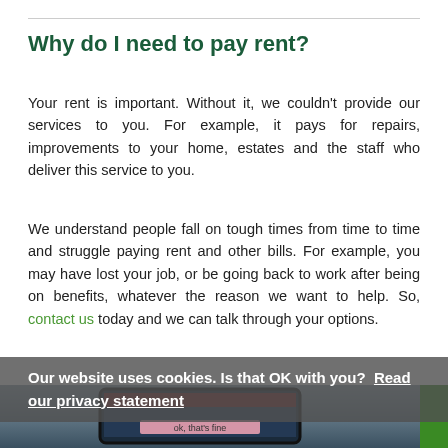Why do I need to pay rent?
Your rent is important. Without it, we couldn't provide our services to you. For example, it pays for repairs, improvements to your home, estates and the staff who deliver this service to you.
We understand people fall on tough times from time to time and struggle paying rent and other bills. For example, you may have lost your job, or be going back to work after being on benefits, whatever the reason we want to help. So, contact us today and we can talk through your options.
Our website uses cookies. Is that OK with you? Read our privacy statement
[Figure (photo): Photo of a tablet/laptop screen showing a website interface, partially obscured by a cookie consent overlay. A green accent is visible in the top right corner.]